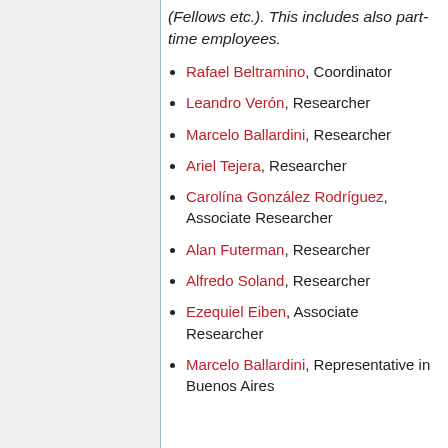(Fellows etc.). This includes also part-time employees.
Rafael Beltramino, Coordinator
Leandro Verón, Researcher
Marcelo Ballardini, Researcher
Ariel Tejera, Researcher
Carolina González Rodríguez, Associate Researcher
Alan Futerman, Researcher
Alfredo Soland, Researcher
Ezequiel Eiben, Associate Researcher
Marcelo Ballardini, Representative in Buenos Aires